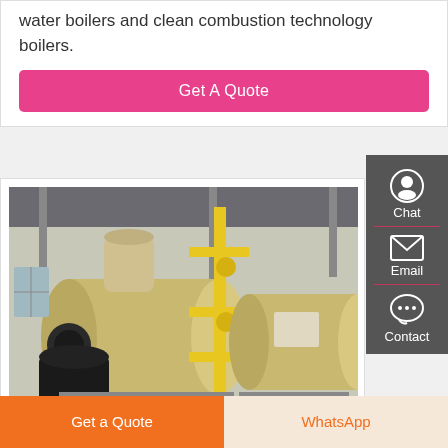water boilers and clean combustion technology boilers.
Get A Quote
[Figure (photo): Industrial gas/oil fired hot water boilers in a factory setting, showing two horizontal cylindrical boiler units with yellow gas piping, burners, and industrial fittings inside a factory building.]
Chat
Email
Contact
Get a Quote
WhatsApp